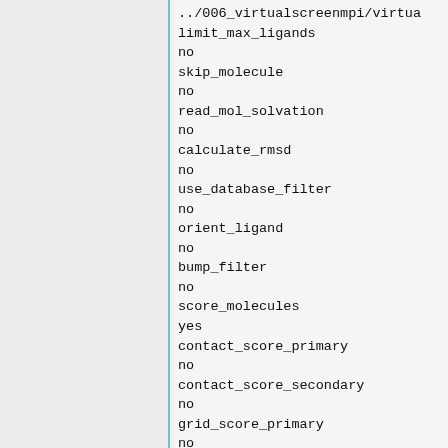../006_virtualscreenmpi/virtual...
limit_max_ligands
no
skip_molecule
no
read_mol_solvation
no
calculate_rmsd
no
use_database_filter
no
orient_ligand
no
bump_filter
no
score_molecules
yes
contact_score_primary
no
contact_score_secondary
no
grid_score_primary
no
grid_score_secondary
no